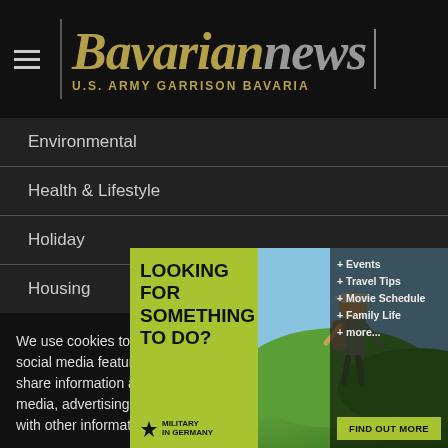Bavarian news — U.S. ARMY GARRISON BAVARIA
Environmental
Health & Lifestyle
Holiday
Housing
Legal Issues
News
We use cookies to personalize content and ads, to provide social media features and to analyze our traffic. We also share information about your use of our site with our social media, advertising and analytics partners who may combine it with other information...
[Figure (infographic): Advertisement banner: 'LOOKING FOR SOMETHING TO DO?' with military in Germany logo, photo of person looking at landscape, and bullet points: Events, Travel Tips, Movie Schedule, Family Life, more... with FIND OUT MORE button]